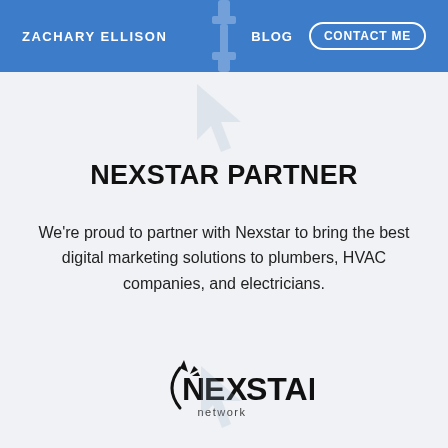ZACHARY ELLISON | BLOG | CONTACT ME
NEXSTAR PARTNER
We're proud to partner with Nexstar to bring the best digital marketing solutions to plumbers, HVAC companies, and electricians.
[Figure (logo): Nexstar Network logo with stylized arrow/star icon and text 'NEXSTAR network']